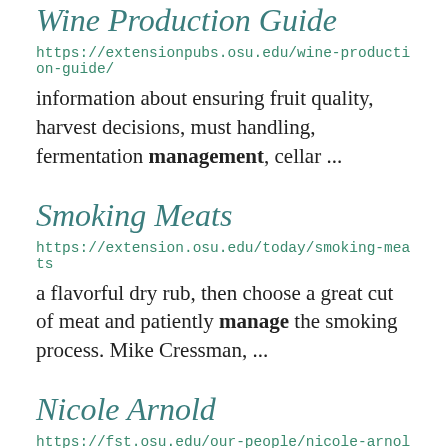Wine Production Guide
https://extensionpubs.osu.edu/wine-production-guide/
information about ensuring fruit quality, harvest decisions, must handling, fermentation management, cellar ...
Smoking Meats
https://extension.osu.edu/today/smoking-meats
a flavorful dry rub, then choose a great cut of meat and patiently manage the smoking process. Mike Cressman, ...
Nicole Arnold
https://fst.osu.edu/our-people/nicole-arnold
Food science in the Dept blah blah blah...